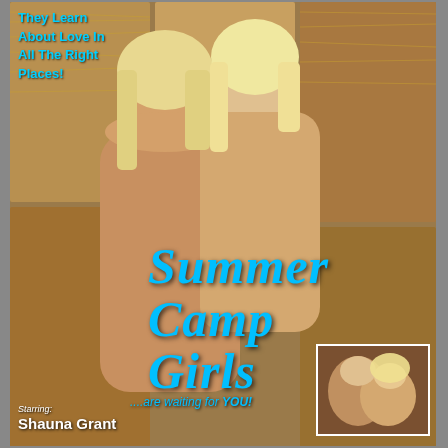They Learn About Love In All The Right Places!
[Figure (photo): Movie cover showing two blonde women posed together in front of hay bales, with a small inset photo in the bottom right corner]
Summer Camp Girls
...are waiting for YOU!
Starring: Shauna Grant